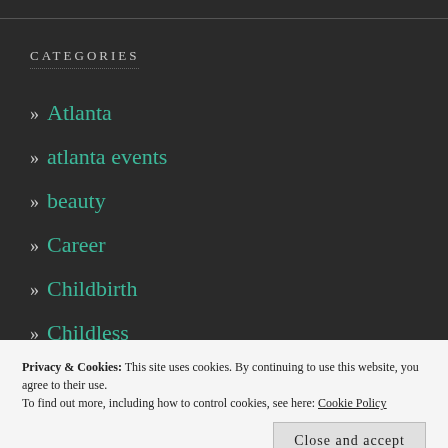CATEGORIES
» Atlanta
» atlanta events
» beauty
» Career
» Childbirth
» Childless
» Cosmos
» fashion
Privacy & Cookies: This site uses cookies. By continuing to use this website, you agree to their use.
To find out more, including how to control cookies, see here: Cookie Policy
» love